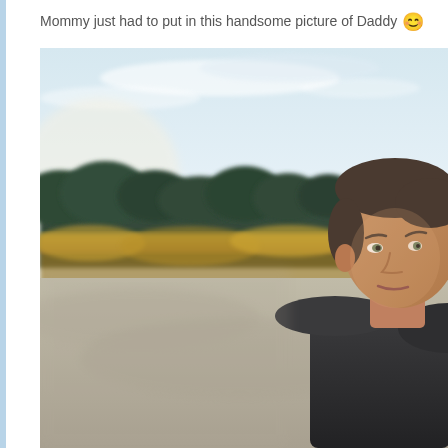Mommy just had to put in this handsome picture of Daddy 😊
[Figure (photo): Outdoor portrait photo of a man with short dark hair, wearing a dark jacket. He is smiling slightly, photographed from the chest up. Background shows a sandy beach or gravel area, tall golden grasses, a line of dark green trees, and a light blue sky with some clouds. The photo is taken at dusk or golden hour.]